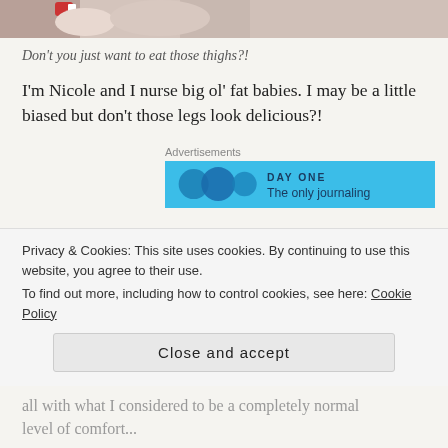[Figure (photo): Partial bottom of a photo showing what appears to be a baby's legs/thighs, cropped at the top of the page]
Don’t you just want to eat those thighs?!
I’m Nicole and I nurse big ol’ fat babies. I may be a little biased but don’t those legs look delicious?!
[Figure (other): Advertisement banner for Day One journaling app with blue background, circular icons, and text 'DAY ONE The only journaling']
I wasn’t always an anxiety-riddled mess, at least not when it came to my children. As a new mama at 27 I
Privacy & Cookies: This site uses cookies. By continuing to use this website, you agree to their use.
To find out more, including how to control cookies, see here: Cookie Policy
Close and accept
all with what I considered to be a completely normal level of comfort...